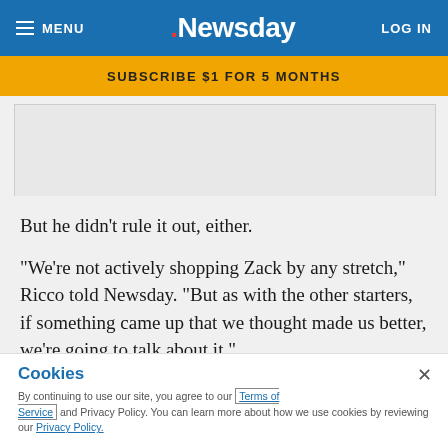MENU | Newsday | LOG IN
SUBSCRIBE $1 FOR 5 MONTHS
[Figure (other): Advertisement placeholder block]
But he didn't rule it out, either.
"We're not actively shopping Zack by any stretch," Ricco told Newsday. "But as with the other starters, if something came up that we thought made us better, we're going to talk about it."
Judging by the reaction of rival executives, the Mets could find themselves with plenty to talk about should they dangle any of their dynamic young pitchers. That includes
Cookies
By continuing to use our site, you agree to our Terms of Service and Privacy Policy. You can learn more about how we use cookies by reviewing our Privacy Policy.